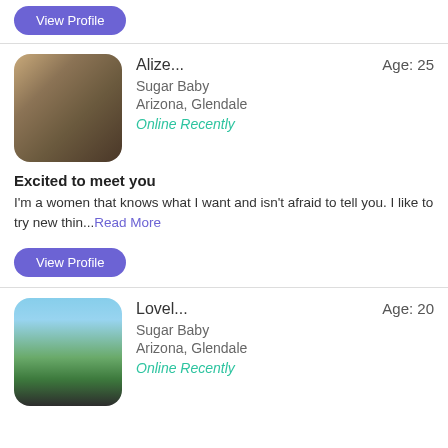View Profile
[Figure (photo): Profile photo of Alize, blurred woman in decorative outfit]
Alize...  Age: 25  Sugar Baby  Arizona, Glendale  Online Recently
Excited to meet you
I'm a women that knows what I want and isn't afraid to tell you. I like to try new thin...Read More
View Profile
[Figure (photo): Profile photo of Lovel, blurred person outdoors near trees]
Lovel...  Age: 20  Sugar Baby  Arizona, Glendale  Online Recently